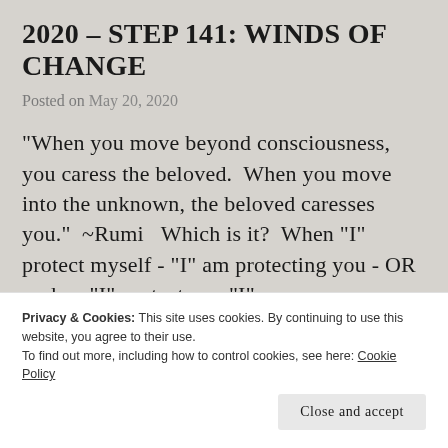2020 – STEP 141: WINDS OF CHANGE
Posted on May 20, 2020
"When you move beyond consciousness, you caress the beloved.  When you move into the unknown, the beloved caresses you."  ~Rumi  Which is it?  When "I" protect myself - "I" am protecting you - OR - when "I" protect you "I" am
Privacy & Cookies: This site uses cookies. By continuing to use this website, you agree to their use.
To find out more, including how to control cookies, see here: Cookie Policy
Close and accept